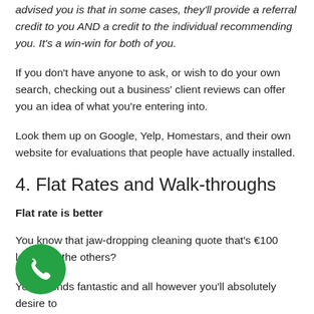advised you is that in some cases, they'll provide a referral credit to you AND a credit to the individual recommending you. It's a win-win for both of you.
If you don't have anyone to ask, or wish to do your own search, checking out a business' client reviews can offer you an idea of what you're entering into.
Look them up on Google, Yelp, Homestars, and their own website for evaluations that people have actually installed.
4. Flat Rates and Walk-throughs
Flat rate is better
You know that jaw-dropping cleaning quote that's €100 less than the others?
Yes, sounds fantastic and all however you'll absolutely desire to